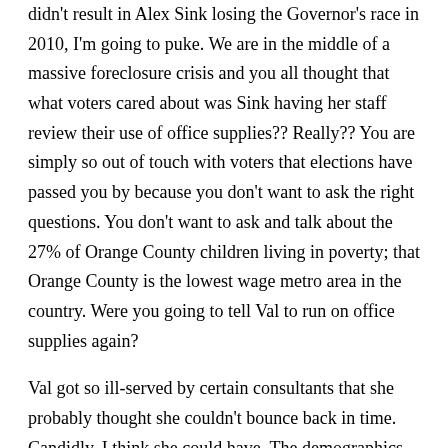didn't result in Alex Sink losing the Governor's race in 2010, I'm going to puke. We are in the middle of a massive foreclosure crisis and you all thought that what voters cared about was Sink having her staff review their use of office supplies?? Really?? You are simply so out of touch with voters that elections have passed you by because you don't want to ask the right questions. You don't want to ask and talk about the 27% of Orange County children living in poverty; that Orange County is the lowest wage metro area in the country. Were you going to tell Val to run on office supplies again?
Val got so ill-served by certain consultants that she probably thought she couldn't bounce back in time. Candidly, I think she could have. The demographics have simply changed in this County to such a large extent that the numbers favored her tremendously. And with